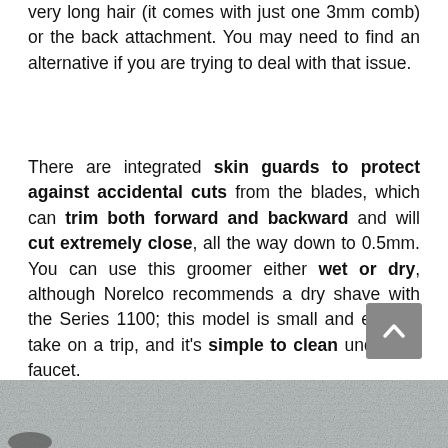very long hair (it comes with just one 3mm comb) or the back attachment. You may need to find an alternative if you are trying to deal with that issue.
There are integrated skin guards to protect against accidental cuts from the blades, which can trim both forward and backward and will cut extremely close, all the way down to 0.5mm. You can use this groomer either wet or dry, although Norelco recommends a dry shave with the Series 1100; this model is small and easy to take on a trip, and it's simple to clean under the faucet.
[Figure (photo): Close-up photo of a gray textured fabric or towel surface]